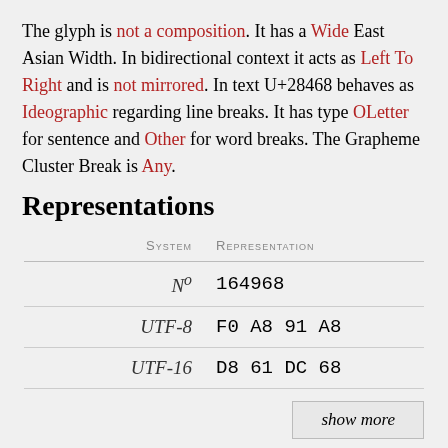The glyph is not a composition. It has a Wide East Asian Width. In bidirectional context it acts as Left To Right and is not mirrored. In text U+28468 behaves as Ideographic regarding line breaks. It has type OLetter for sentence and Other for word breaks. The Grapheme Cluster Break is Any.
Representations
| System | Representation |
| --- | --- |
| Nº | 164968 |
| UTF-8 | F0 A8 91 A8 |
| UTF-16 | D8 61 DC 68 |
Elsewhere